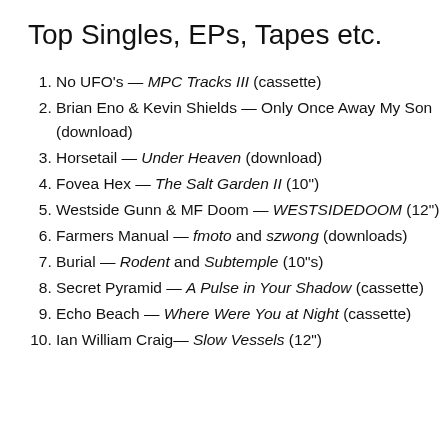Top Singles, EPs, Tapes etc.
No UFO's — MPC Tracks III (cassette)
Brian Eno & Kevin Shields — Only Once Away My Son (download)
Horsetail — Under Heaven (download)
Fovea Hex — The Salt Garden II (10")
Westside Gunn & MF Doom — WESTSIDEDOOM (12")
Farmers Manual — fmoto and szwong (downloads)
Burial — Rodent and Subtemple (10"s)
Secret Pyramid — A Pulse in Your Shadow (cassette)
Echo Beach — Where Were You at Night (cassette)
Ian William Craig— Slow Vessels (12")
Also, lots of releases I forgot to mention and tons and tons